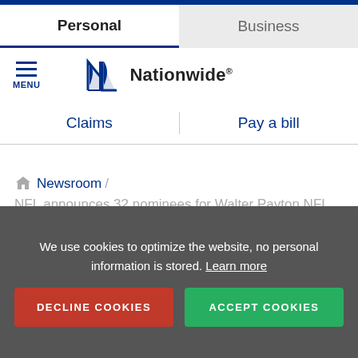Personal | Business
[Figure (logo): Nationwide insurance logo with sailboat icon and wordmark]
Claims   Pay a bill
Newsroom / NFL announces 32 nominees for Walter Payton NFL Man of the Year Award presented by Nationwide
We use cookies to optimize the website, no personal information is stored. Learn more
DECLINE COOKIES   ACCEPT COOKIES